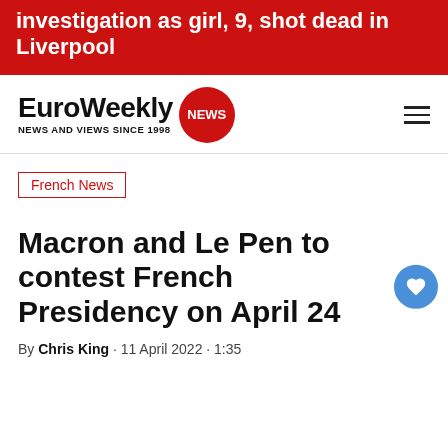investigation as girl, 9, shot dead in Liverpool
[Figure (logo): EuroWeekly NEWS logo with red circle badge]
French News
Macron and Le Pen to contest French Presidency on April 24
By Chris King · 11 April 2022 · 1:35